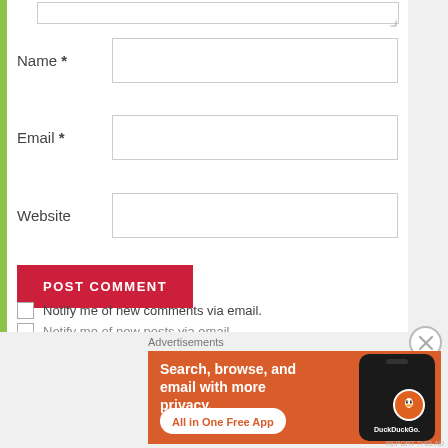[Figure (screenshot): Web comment form with Name, Email, Website fields, POST COMMENT button, and a checkbox for notifications. Green left border. Below is a DuckDuckGo advertisement banner.]
Name *
Email *
Website
POST COMMENT
Notify me of new comments via email.
Advertisements
[Figure (screenshot): DuckDuckGo advertisement: orange background with white text 'Search, browse, and email with more privacy.' and 'All in One Free App' badge, with a phone image and DuckDuckGo logo.]